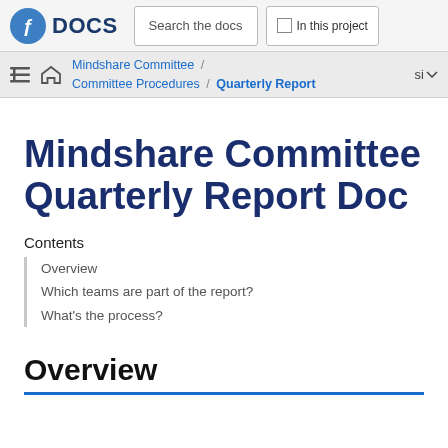Fedora DOCS — Search the docs — In this project
Mindshare Committee / Committee Procedures / Quarterly Report
Mindshare Committee Quarterly Report Doc
Contents
Overview
Which teams are part of the report?
What's the process?
Overview